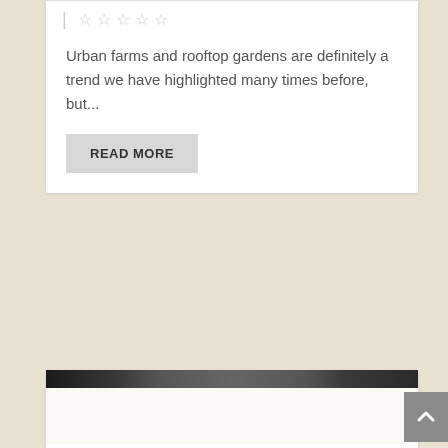| ★★★★★
Urban farms and rooftop gardens are definitely a trend we have highlighted many times before, but...
READ MORE
[Figure (photo): Partial view of a dark photograph, possibly an outdoor or architectural scene]
Simple Tech helps homeless find...